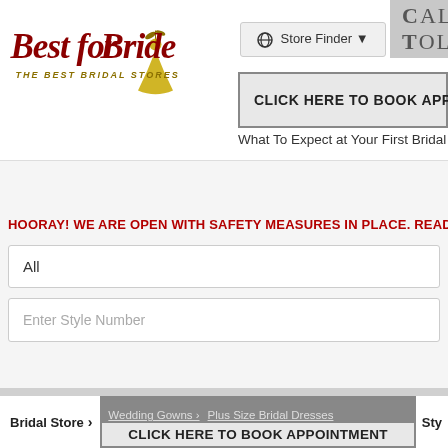[Figure (logo): Best for Bride logo with stylized script text and bridal figure, tagline THE BEST BRIDAL STORES]
Store Finder ▼
CALL TOLL
CLICK HERE TO BOOK APPOI
What To Expect at Your First Bridal
HOORAY! WE ARE OPEN WITH SAFETY MEASURES IN PLACE. READ MOR
All
Enter Style Number
Bridal Store ›
Wedding Gowns › Plus Size Bridal Dresses
CLICK HERE TO BOOK APPOINTMENT
Sty